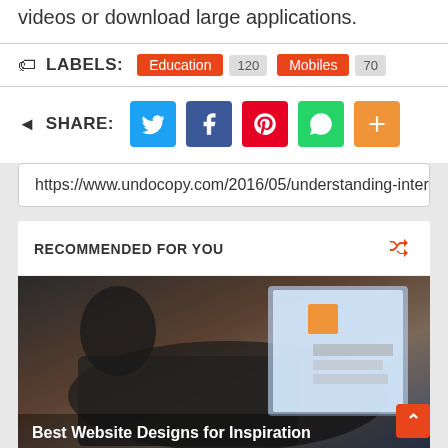videos or download large applications.
LABELS: Education 120 Mobiles 70
SHARE:
https://www.undocopy.com/2016/05/understanding-interr
RECOMMENDED FOR YOU
[Figure (photo): Person typing on laptop keyboard, with screen visible showing website content. Caption: Best Website Designs for Inspiration]